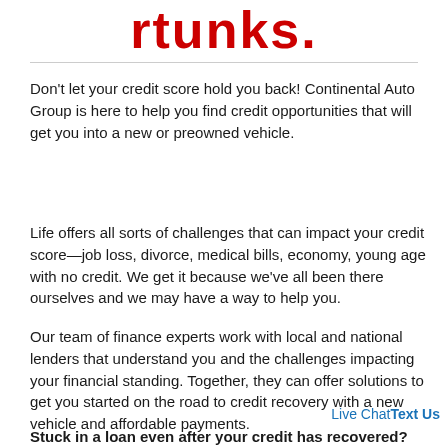…rtunks.
Don't let your credit score hold you back! Continental Auto Group is here to help you find credit opportunities that will get you into a new or preowned vehicle.
Life offers all sorts of challenges that can impact your credit score—job loss, divorce, medical bills, economy, young age with no credit. We get it because we've all been there ourselves and we may have a way to help you.
Our team of finance experts work with local and national lenders that understand you and the challenges impacting your financial standing. Together, they can offer solutions to get you started on the road to credit recovery with a new vehicle and affordable payments.
Stuck in a loan even after your credit has recovered?
Live ChatText Us